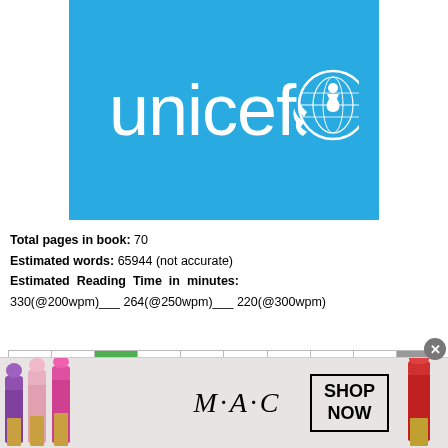[Figure (logo): UNICEF logo — white text 'unicef' with globe/mother-and-child emblem on cyan/sky-blue background]
Total pages in book: 70
Estimated words: 65944 (not accurate)
Estimated Reading Time in minutes: 330(@200wpm)___ 264(@250wpm)___ 220(@300wpm)
| <<< | < | 1 | 2 | 3 | 11 | 21 | > | 70 |  |
| --- | --- | --- | --- | --- | --- | --- | --- | --- | --- |
[Figure (screenshot): MAC Cosmetics advertisement banner — lipsticks on left and right, M·A·C logo in center, SHOP NOW button in box]